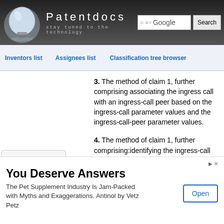Patentdocs — stay tuned to the technology
Inventors list   Assignees list   Classification tree browser
3. The method of claim 1, further comprising associating the ingress call with an ingress-call peer based on the ingress-call parameter values and the ingress-call-peer parameter values.
4. The method of claim 1, further comprising:identifying the ingress-call source using the ingress-call
[Figure (other): Chevron/dropdown arrow button]
You Deserve Answers
The Pet Supplement Industry Is Jam-Packed with Myths and Exaggerations. Antinol by Vetz Petz
Open